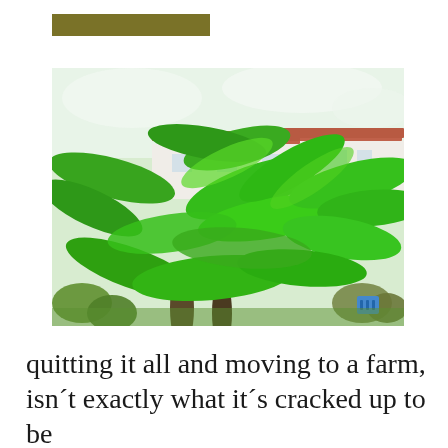[Figure (photo): Lush banana trees with large green leaves growing in a garden, with a white Spanish-style house with red tile roof visible in the background. Other shrubs and plants visible at the base.]
quitting it all and moving to a farm, isn´t exactly what it´s cracked up to be